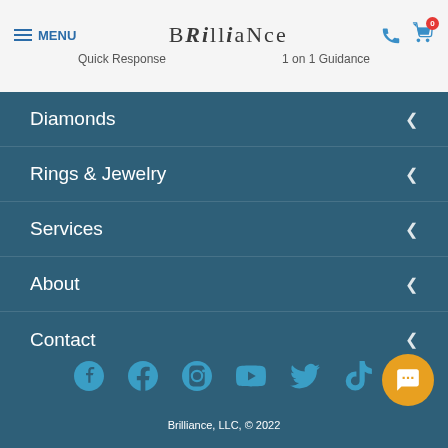MENU | BRILLIANCE | Quick Response | 1 on 1 Guidance
Diamonds
Rings & Jewelry
Services
About
Contact
[Figure (infographic): Social media icons row: Pinterest, Facebook, Instagram, YouTube, Twitter, TikTok]
Brilliance, LLC, © 2022